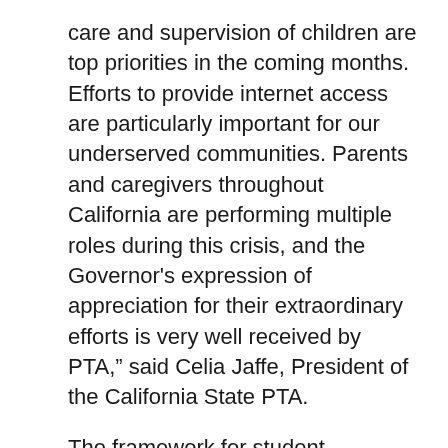care and supervision of children are top priorities in the coming months. Efforts to provide internet access are particularly important for our underserved communities. Parents and caregivers throughout California are performing multiple roles during this crisis, and the Governor's expression of appreciation for their extraordinary efforts is very well received by PTA,” said Celia Jaffe, President of the California State PTA.
The framework for student instruction can be found here.
###